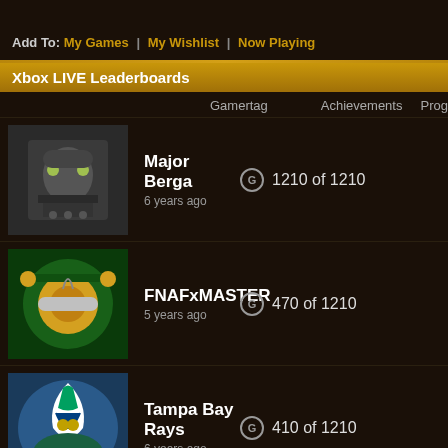Add To: My Games | My Wishlist | Now Playing
Xbox LIVE Leaderboards
| Gamertag | Achievements | Prog |
| --- | --- | --- |
| Major Berga
6 years ago | 1210 of 1210 |  |
| FNAFxMASTER
5 years ago | 470 of 1210 |  |
| Tampa Bay Rays
6 years ago | 410 of 1210 |  |
| Slawterhau5
6 years ago | 325 of 1210 |  |
| clemo41
6 years ago | 205 of 1210 |  |
Browse All "Call of Duty: Black Ops III" Leaderboards